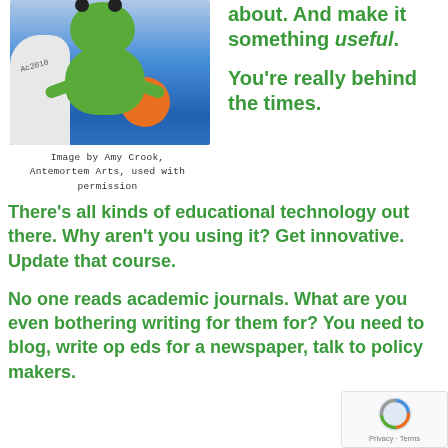[Figure (illustration): Illustration of a green frog sitting on top of an open book with a blue cover, holding an orange ball, with a white cloth to the left. Signed 'Ac2010'.]
Image by Amy Crook, Antemortem Arts, used with permission
about. And make it something useful.
You're really behind the times.
There's all kinds of educational technology out there. Why aren't you using it? Get innovative. Update that course.
No one reads academic journals. What are you even bothering writing for them for? You need to blog, write op eds for a newspaper, talk to policy makers.